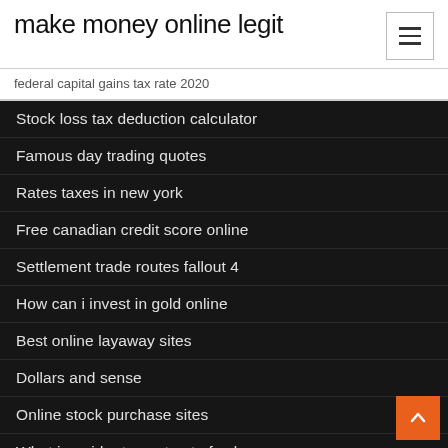make money online legit
federal capital gains tax rate 2020
Stock loss tax deduction calculator
Famous day trading quotes
Rates taxes in new york
Free canadian credit score online
Settlement trade routes fallout 4
How can i invest in gold online
Best online layaway sites
Dollars and sense
Online stock purchase sites
What is a rider to contract of sale